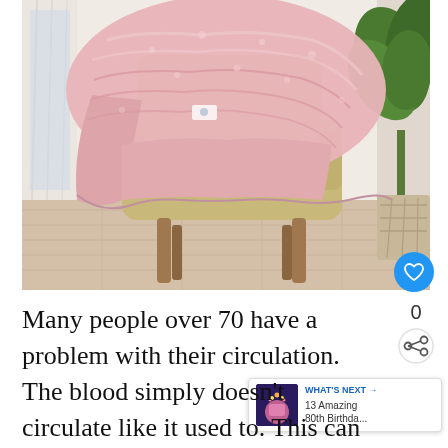[Figure (photo): A pink faux fur throw blanket draped over a tan/beige upholstered armchair with wooden legs, in a living room setting with a sheer white curtain and tropical plant in background, on light wood flooring.]
Many people over 70 have a problem with their circulation. The blood simply doesn't circulate like it used to. This can cause them to feel cooler than you and I do. We may be in